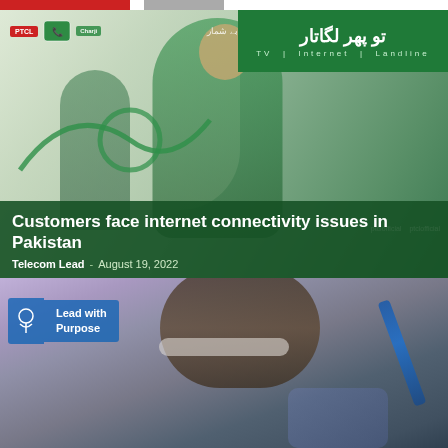[Figure (photo): PTCL advertisement image showing man in green blazer with woman on phone in background, with Urdu text banner reading TV | Internet | Landline, with article title overlay: Customers face internet connectivity issues in Pakistan, by Telecom Lead, August 19, 2022]
Customers face internet connectivity issues in Pakistan
Telecom Lead - August 19, 2022
[Figure (photo): Student writing with headphones around neck, holding a blue pen, with a Lead with Purpose badge overlay in the top left corner]